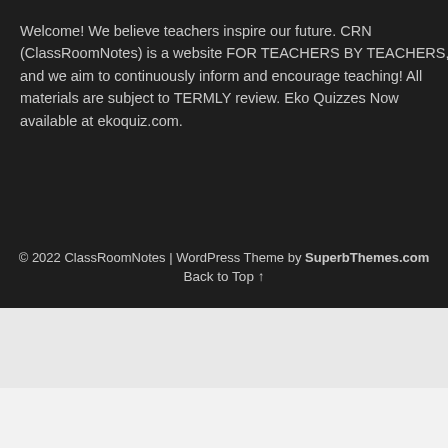Welcome! We believe teachers inspire our future. CRN (ClassRoomNotes) is a website FOR TEACHERS BY TEACHERS, and we aim to continuously inform and encourage teaching! All materials are subject to TERMLY review. Eko Quizzes Now available at ekoquiz.com.
© 2022 ClassRoomNotes | WordPress Theme by SuperbThemes.com
Back to Top ↑